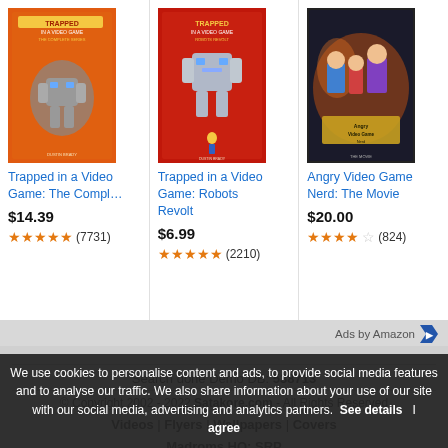[Figure (other): Product card image: Trapped in a Video Game: The Complete Series book cover (orange background with robots)]
Trapped in a Video Game: The Compl…
$14.39
★★★★★ (7731)
[Figure (other): Product card image: Trapped in a Video Game: Robots Revolt book cover (red background with robot)]
Trapped in a Video Game: Robots Revolt
$6.99
★★★★★ (2210)
[Figure (other): Product card image: Angry Video Game Nerd: The Movie DVD cover]
Angry Video Game Nerd: The Movie
$20.00
★★★★☆ (824)
Ads by Amazon
Search done Demo DB: 538713
© Copyright 2002 - 2022 Satakore.com - All Rights Reserved
Videos | Flyers | Wallpapers | Covers
Madroms HQ: SRP
Staff | Want to Help Us? | Contributors
We use cookies to personalise content and ads, to provide social media features and to analyse our traffic. We also share information about your use of our site with our social media, advertising and analytics partners.  See details    I agree